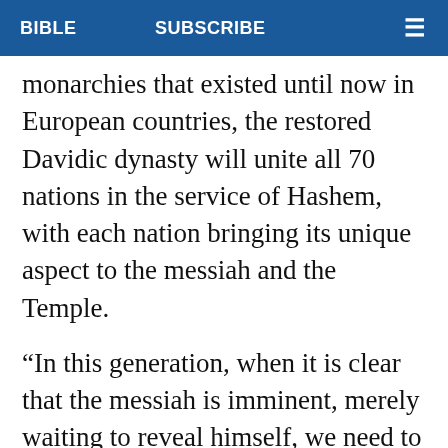BIBLE   SUBSCRIBE   ☰
monarchies that existed until now in European countries, the restored Davidic dynasty will unite all 70 nations in the service of Hashem, with each nation bringing its unique aspect to the messiah and the Temple.
“In this generation, when it is clear that the messiah is imminent, merely waiting to reveal himself, we need to prepare our hearts by performing acts that strengthen our belief,” Rabbi